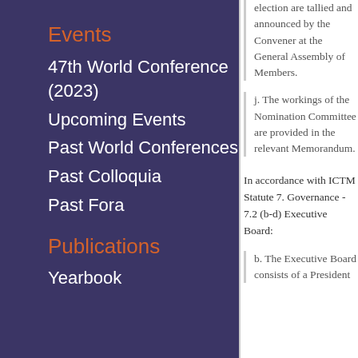Events
47th World Conference (2023)
Upcoming Events
Past World Conferences
Past Colloquia
Past Fora
Publications
Yearbook
election are tallied and announced by the Convener at the General Assembly of Members.
j. The workings of the Nomination Committee are provided in the relevant Memorandum.
In accordance with ICTM Statute 7. Governance - 7.2 (b-d) Executive Board:
b. The Executive Board consists of a President